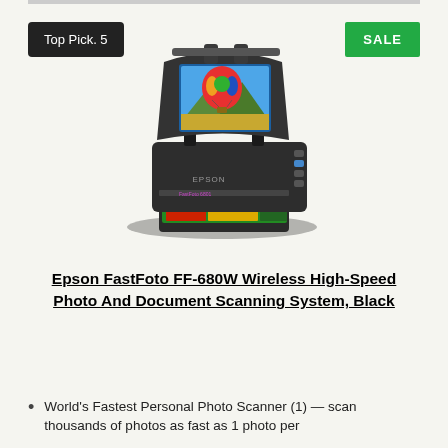Top Pick. 5
SALE
[Figure (photo): Epson FastFoto FF-680W wireless photo and document scanner, black, shown with a colorful hot air balloon photo being scanned]
Epson FastFoto FF-680W Wireless High-Speed Photo And Document Scanning System, Black
World's Fastest Personal Photo Scanner (1) — scan thousands of photos as fast as 1 photo per